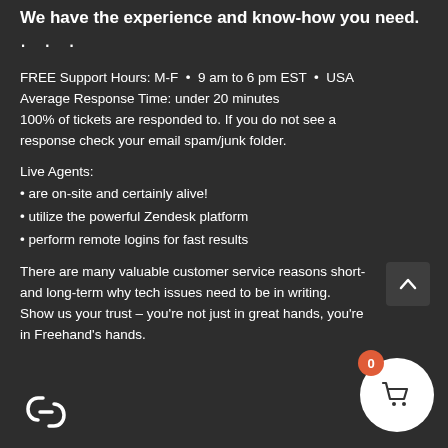We have the experience and know-how you need.
• • •
FREE Support Hours: M-F • 9 am to 6 pm EST • USA
Average Response Time: under 20 minutes
100% of tickets are responded to. If you do not see a response check your email spam/junk folder.
Live Agents:
• are on-site and certainly alive!
• utilize the powerful Zendesk platform
• perform remote logins for fast results
There are many valuable customer service reasons short- and long-term why tech issues need to be in writing. Show us your trust – you're not just in great hands, you're in Freehand's hands.
[Figure (illustration): Back to top arrow button (dark grey rounded square with white upward chevron)]
[Figure (illustration): Shopping cart button (white circle with cart icon) and orange badge showing '0']
[Figure (logo): Freehand logo icon (chain link symbol, white, bottom left)]